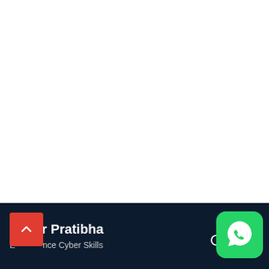[Figure (screenshot): White blank main content area of a website]
Cyber Pratibha
Enhance Cyber Skills